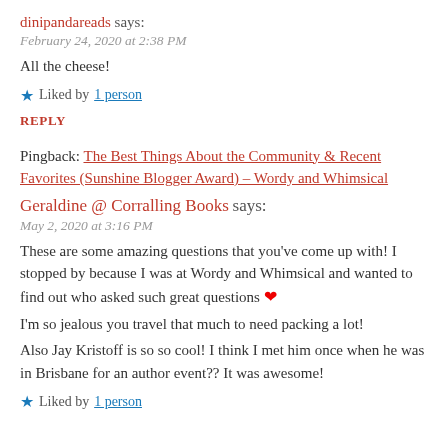dinipandareads says:
February 24, 2020 at 2:38 PM
All the cheese!
★ Liked by 1 person
REPLY
Pingback: The Best Things About the Community & Recent Favorites (Sunshine Blogger Award) – Wordy and Whimsical
Geraldine @ Corralling Books says:
May 2, 2020 at 3:16 PM
These are some amazing questions that you've come up with! I stopped by because I was at Wordy and Whimsical and wanted to find out who asked such great questions ❤
I'm so jealous you travel that much to need packing a lot!
Also Jay Kristoff is so so cool! I think I met him once when he was in Brisbane for an author event?? It was awesome!
★ Liked by 1 person